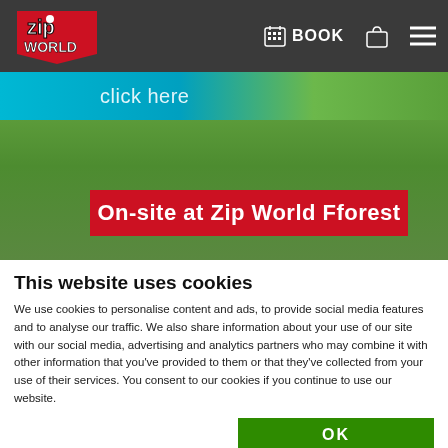[Figure (screenshot): Zip World website header with dark nav bar showing Zip World logo, BOOK icon, bag icon, and hamburger menu. Below is a green landscape hero image with a cyan/blue banner strip showing 'click here' text, and a red banner reading 'On-site at Zip World Fforest'.]
This website uses cookies
We use cookies to personalise content and ads, to provide social media features and to analyse our traffic. We also share information about your use of our site with our social media, advertising and analytics partners who may combine it with other information that you've provided to them or that they've collected from your use of their services. You consent to our cookies if you continue to use our website.
OK
Necessary  Preferences  Statistics  Marketing  Show details